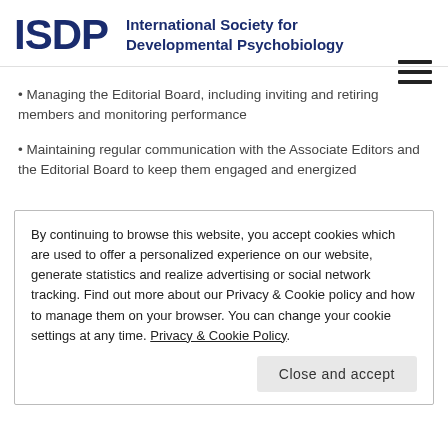[Figure (logo): ISDP logo with bold dark blue letters 'ISDP' and text 'International Society for Developmental Psychobiology']
• Managing the Editorial Board, including inviting and retiring members and monitoring performance
• Maintaining regular communication with the Associate Editors and the Editorial Board to keep them engaged and energized
By continuing to browse this website, you accept cookies which are used to offer a personalized experience on our website, generate statistics and realize advertising or social network tracking. Find out more about our Privacy & Cookie policy and how to manage them on your browser. You can change your cookie settings at any time. Privacy & Cookie Policy
Close and accept